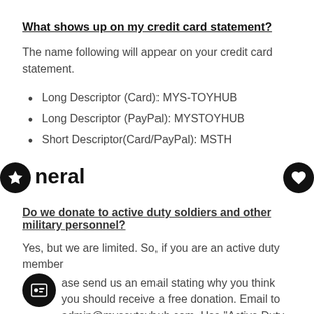What shows up on my credit card statement?
The name following will appear on your credit card statement.
Long Descriptor (Card): MYS-TOYHUB
Long Descriptor (PayPal): MYSTOYHUB
Short Descriptor(Card/PayPal): MSTH
neral
Do we donate to active duty soldiers and other military personnel?
Yes, but we are limited. So, if you are an active duty member please send us an email stating why you think you should receive a free donation. Email to admin@mysextoyhub.com. Use "Active Duty Donation" in the subject line. Please include